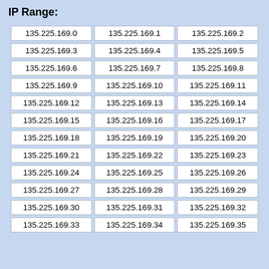IP Range:
| 135.225.169.0 | 135.225.169.1 | 135.225.169.2 |
| 135.225.169.3 | 135.225.169.4 | 135.225.169.5 |
| 135.225.169.6 | 135.225.169.7 | 135.225.169.8 |
| 135.225.169.9 | 135.225.169.10 | 135.225.169.11 |
| 135.225.169.12 | 135.225.169.13 | 135.225.169.14 |
| 135.225.169.15 | 135.225.169.16 | 135.225.169.17 |
| 135.225.169.18 | 135.225.169.19 | 135.225.169.20 |
| 135.225.169.21 | 135.225.169.22 | 135.225.169.23 |
| 135.225.169.24 | 135.225.169.25 | 135.225.169.26 |
| 135.225.169.27 | 135.225.169.28 | 135.225.169.29 |
| 135.225.169.30 | 135.225.169.31 | 135.225.169.32 |
| 135.225.169.33 | 135.225.169.34 | 135.225.169.35 |